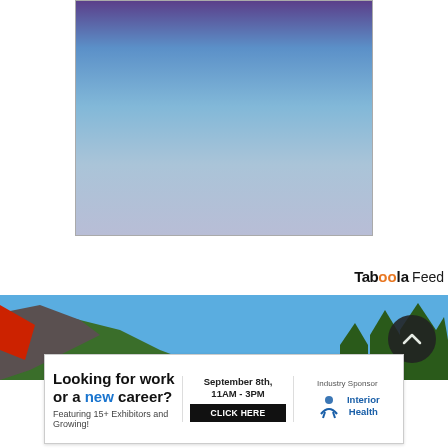[Figure (photo): Gradient rectangle with purple top transitioning to blue then light lavender-grey at the bottom, with a thin border]
Taboola Feed
[Figure (photo): Panoramic outdoor photo showing trees, rocky mountain, and clear blue sky with a red shape on the left edge]
[Figure (other): Dark circular scroll-to-top button with upward arrow]
[Figure (other): Advertisement banner: Looking for work or a new career? Featuring 15+ Exhibitors and Growing! September 8th, 11AM-3PM, CLICK HERE. Industry Sponsor: Interior Health logo]